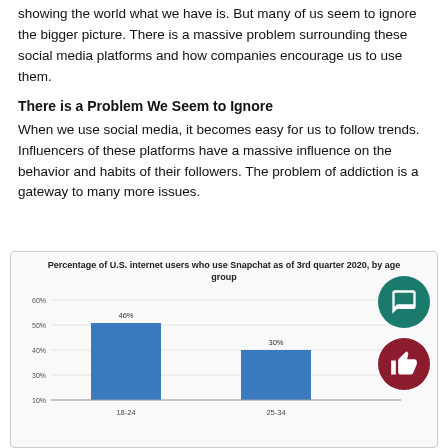showing the world what we have is. But many of us seem to ignore the bigger picture. There is a massive problem surrounding these social media platforms and how companies encourage us to use them.
There is a Problem We Seem to Ignore
When we use social media, it becomes easy for us to follow trends. Influencers of these platforms have a massive influence on the behavior and habits of their followers. The problem of addiction is a gateway to many more issues.
[Figure (bar-chart): Percentage of U.S. internet users who use Snapchat as of 3rd quarter 2020, by age group]